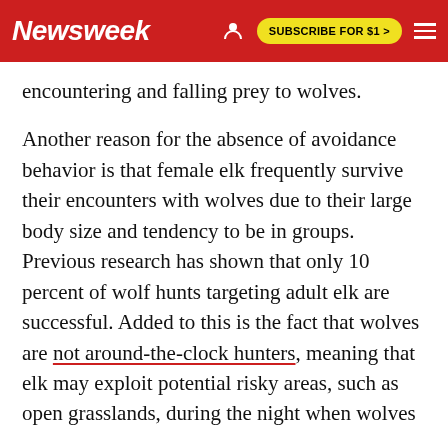Newsweek | SUBSCRIBE FOR $1 >
encountering and falling prey to wolves.
Another reason for the absence of avoidance behavior is that female elk frequently survive their encounters with wolves due to their large body size and tendency to be in groups. Previous research has shown that only 10 percent of wolf hunts targeting adult elk are successful. Added to this is the fact that wolves are not around-the-clock hunters, meaning that elk may exploit potential risky areas, such as open grasslands, during the night when wolves